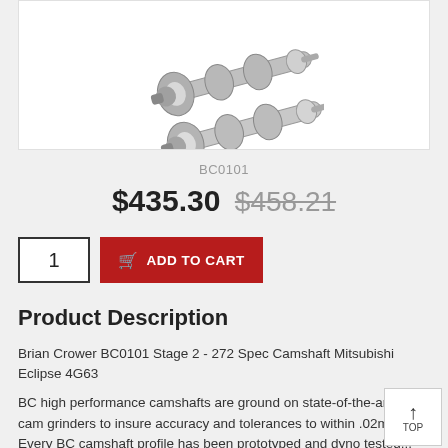[Figure (photo): Photo of Brian Crower BC0101 camshafts, two metallic camshaft components on white background]
BC0101
$435.30 $458.21
1   ADD TO CART
Product Description
Brian Crower BC0101 Stage 2 - 272 Spec Camshaft Mitsubishi Eclipse 4G63
BC high performance camshafts are ground on state-of-the-art CNC cam grinders to insure accuracy and tolerances to within .02mm. Every BC camshaft profile has been prototyped and dyno tested...